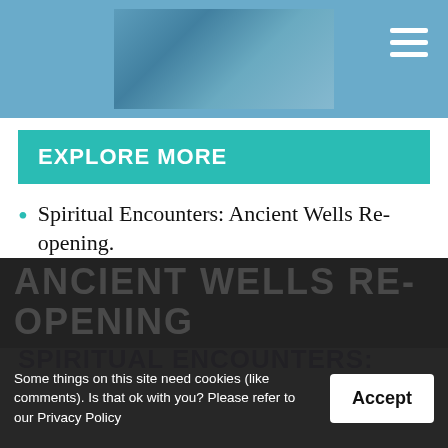[Figure (photo): Website header with a blue/teal background, a landscape/nature image in the center, and a hamburger menu icon on the right]
EXPLORE MORE
Spiritual Encounters: Ancient Wells Re-opening.
Cornwall and the Isles of Scilly
Ancient Wells
SPIRITUAL ENCOUNTERS:
ANCIENT WELLS RE-OPENING
Some things on this site need cookies (like comments). Is that ok with you? Please refer to our Privacy Policy
Accept